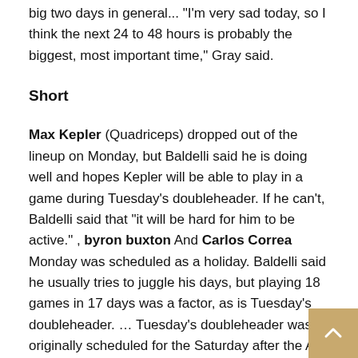big two days in general... "I'm very sad today, so I think the next 24 to 48 hours is probably the biggest, most important time," Gray said.
Short
Max Kepler (Quadriceps) dropped out of the lineup on Monday, but Baldelli said he is doing well and hopes Kepler will be able to play in a game during Tuesday's doubleheader. If he can't, Baldelli said that “it will be hard for him to be active.” , byron buxton And Carlos Correa Monday was scheduled as a holiday. Baldelli said he usually tries to juggle his days, but playing 18 games in 17 days was a factor, as is Tuesday's doubleheader. … Tuesday's doubleheader was originally scheduled for the Saturday after the All-Star break in July, but was moved when the schedule was adjusted to add to the lockout makeup games.